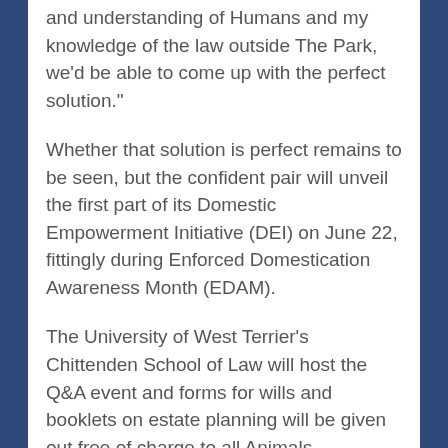and understanding of Humans and my knowledge of the law outside The Park, we'd be able to come up with the perfect solution."
Whether that solution is perfect remains to be seen, but the confident pair will unveil the first part of its Domestic Empowerment Initiative (DEI) on June 22, fittingly during Enforced Domestication Awareness Month (EDAM).
The University of West Terrier's Chittenden School of Law will host the Q&A event and forms for wills and booklets on estate planning will be given out free of charge to all Animals.
Both Fox and Noreen know the risks involved in